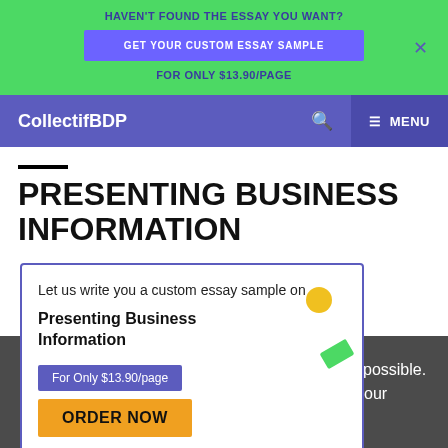HAVEN'T FOUND THE ESSAY YOU WANT?
GET YOUR CUSTOM ESSAY SAMPLE
FOR ONLY $13.90/PAGE
CollectifBDP  ☰ MENU
PRESENTING BUSINESS INFORMATION
Let us write you a custom essay sample on
Presenting Business Information
For Only $13.90/page
ORDER NOW
We use cookies to give you the best experience possible. By continuing we'll assume you're on board with our cookie policy